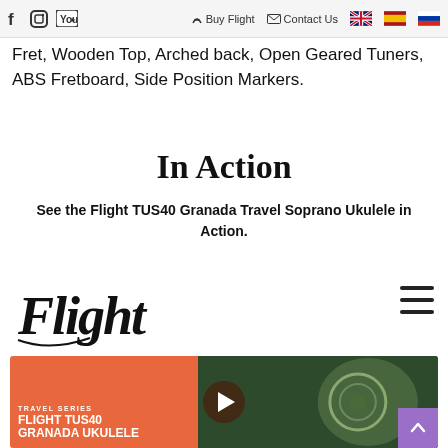Buy Flight | Contact Us
Fret, Wooden Top, Arched back, Open Geared Tuners, ABS Fretboard, Side Position Markers.
In Action
See the Flight TUS40 Granada Travel Soprano Ukulele in Action.
[Figure (logo): Flight brand logo in black cursive lettering]
[Figure (screenshot): Video thumbnail for Flight TUS40 Granada Ukulele showing orange background with text TRAVEL SERIES / FLIGHT TUS40 / GRANADA UKULELE and a play button overlay, with image of ukulele on right side]